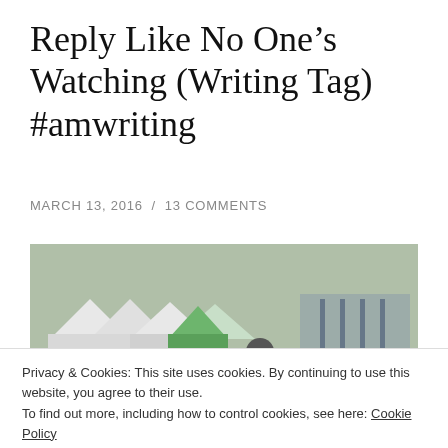Reply Like No One’s Watching (Writing Tag) #amwriting
MARCH 13, 2016 / 13 COMMENTS
[Figure (photo): Person standing near large open book sculptures outdoors with white tent canopies in background]
Privacy & Cookies: This site uses cookies. By continuing to use this website, you agree to their use.
To find out more, including how to control cookies, see here: Cookie Policy
Close and accept